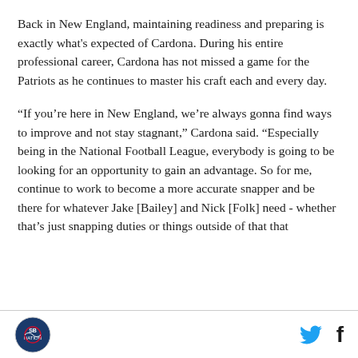Back in New England, maintaining readiness and preparing is exactly what's expected of Cardona. During his entire professional career, Cardona has not missed a game for the Patriots as he continues to master his craft each and every day.
“If you’re here in New England, we’re always gonna find ways to improve and not stay stagnant,” Cardona said. “Especially being in the National Football League, everybody is going to be looking for an opportunity to gain an advantage. So for me, continue to work to become a more accurate snapper and be there for whatever Jake [Bailey] and Nick [Folk] need - whether that’s just snapping duties or things outside of that that
Logo and social media icons